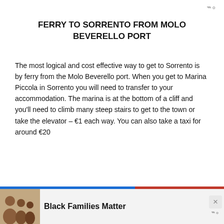www
FERRY TO SORRENTO FROM MOLO BEVERELLO PORT
The most logical and cost effective way to get to Sorrento is by ferry from the Molo Beverello port. When you get to Marina Piccola in Sorrento you will need to transfer to your accommodation. The marina is at the bottom of a cliff and you'll need to climb many steep stairs to get to the town or take the elevator – €1 each way. You can also take a taxi for around €20
Frequency in summer: Alilaura [5 Sailings Daily] and NLG [7 Sailings Weekly] – check timetables here – you need to choose the Amalfi Coast routes
Seasonal: Reduced schedule between November and
[Figure (screenshot): Advertisement banner: Black Families Matter with photo of family]